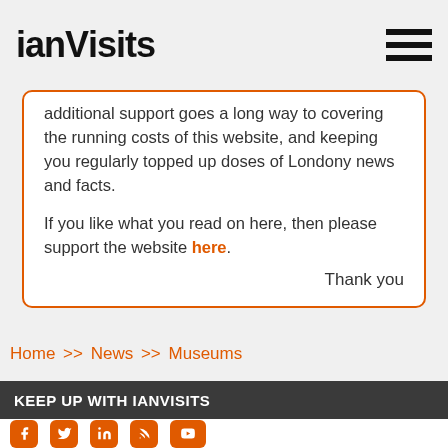ianVisits
additional support goes a long way to covering the running costs of this website, and keeping you regularly topped up doses of Londony news and facts.
If you like what you read on here, then please support the website here.
Thank you
Home >> News >> Museums
KEEP UP WITH IANVISITS
[Figure (infographic): Social media icons: Facebook, Twitter, LinkedIn, RSS, YouTube — orange rounded square buttons]